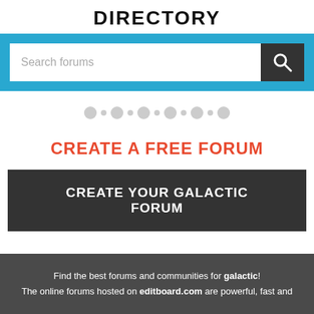DIRECTORY
[Figure (screenshot): Search bar on a blue background with placeholder text 'Search forums' and a dark search button with magnifying glass icon]
[Figure (other): Row of alternating large and small grey circles as pagination dots]
CREATE A FREE FORUM
[Figure (other): Dark button labeled 'CREATE YOUR GALACTIC FORUM']
Find the best forums and communities for galactic! The online forums hosted on editboard.com are powerful, fast and